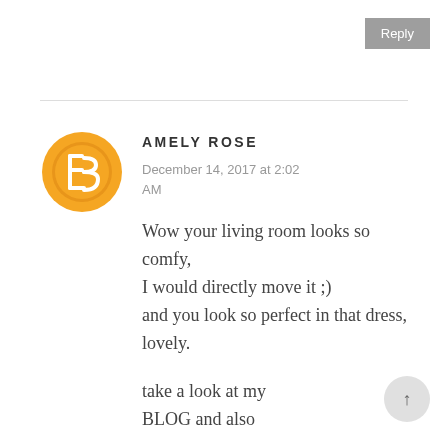Reply
[Figure (illustration): Orange circular Blogger icon with white 'B' logo inside]
AMELY ROSE
December 14, 2017 at 2:02 AM
Wow your living room looks so comfy, I would directly move it ;) and you look so perfect in that dress, lovely.
take a look at my BLOG and also